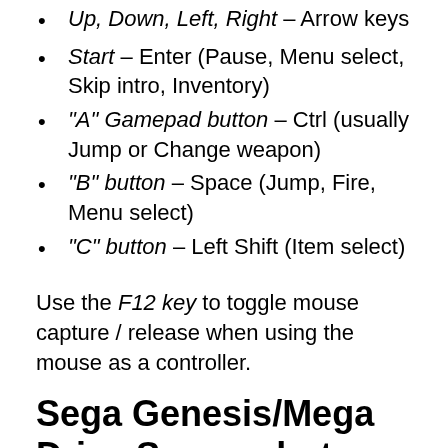Up, Down, Left, Right – Arrow keys
Start – Enter (Pause, Menu select, Skip intro, Inventory)
"A" Gamepad button – Ctrl (usually Jump or Change weapon)
"B" button – Space (Jump, Fire, Menu select)
"C" button – Left Shift (Item select)
Use the F12 key to toggle mouse capture / release when using the mouse as a controller.
Sega Genesis/Mega Drive Screenshots
[Figure (photo): Screenshot showing the title card of Rude Buster game for Sega Genesis/Mega Drive, with colorful graffiti-style lettering in pink, orange, red, and blue on a purple background.]